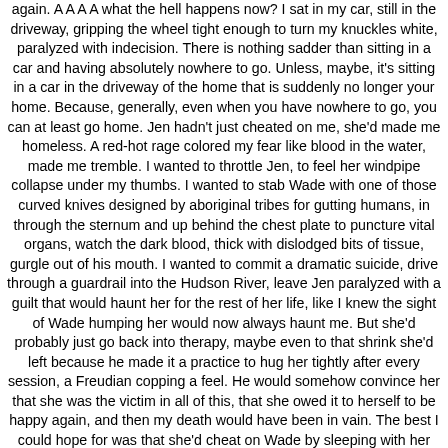again. A A A A what the hell happens now? I sat in my car, still in the driveway, gripping the wheel tight enough to turn my knuckles white, paralyzed with indecision. There is nothing sadder than sitting in a car and having absolutely nowhere to go. Unless, maybe, it's sitting in a car in the driveway of the home that is suddenly no longer your home. Because, generally, even when you have nowhere to go, you can at least go home. Jen hadn't just cheated on me, she'd made me homeless. A red-hot rage colored my fear like blood in the water, made me tremble. I wanted to throttle Jen, to feel her windpipe collapse under my thumbs. I wanted to stab Wade with one of those curved knives designed by aboriginal tribes for gutting humans, in through the sternum and up behind the chest plate to puncture vital organs, watch the dark blood, thick with dislodged bits of tissue, gurgle out of his mouth. I wanted to commit a dramatic suicide, drive through a guardrail into the Hudson River, leave Jen paralyzed with a guilt that would haunt her for the rest of her life, like I knew the sight of Wade humping her would now always haunt me. But she'd probably just go back into therapy, maybe even to that shrink she'd left because he made it a practice to hug her tightly after every session, a Freudian copping a feel. He would somehow convince her that she was the victim in all of this, that she owed it to herself to be happy again, and then my death would have been in vain. The best I could hope for was that she'd cheat on Wade by sleeping with her horny therapist, but was it actually cheating if you cheated on your illicit lover? I was new to all of this and didn't know the bylaws. In the rearview mirror I could see the front of the house, the bottom corners of the living room picture window, the line where the stone foundation gave way to staggered red bricks. My entire life, the sum total of my existence, was contained behind that wall, and it seemed to me that I should be able to step out of the car, walk through